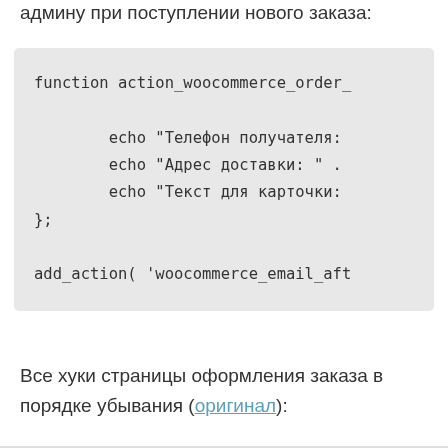админу при поступлении нового заказа:
function action_woocommerce_order_

        echo "Телефон получателя:
        echo "Адрес доставки: " .
        echo "Текст для карточки:
};

add_action( 'woocommerce_email_aft
Все хуки страницы оформления заказа в порядке убывания (оригинал):